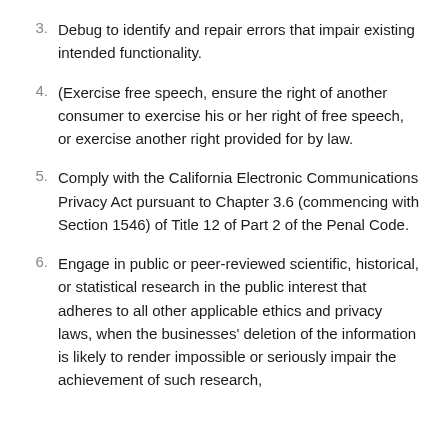3. Debug to identify and repair errors that impair existing intended functionality.
4. (Exercise free speech, ensure the right of another consumer to exercise his or her right of free speech, or exercise another right provided for by law.
5. Comply with the California Electronic Communications Privacy Act pursuant to Chapter 3.6 (commencing with Section 1546) of Title 12 of Part 2 of the Penal Code.
6. Engage in public or peer-reviewed scientific, historical, or statistical research in the public interest that adheres to all other applicable ethics and privacy laws, when the businesses' deletion of the information is likely to render impossible or seriously impair the achievement of such research,